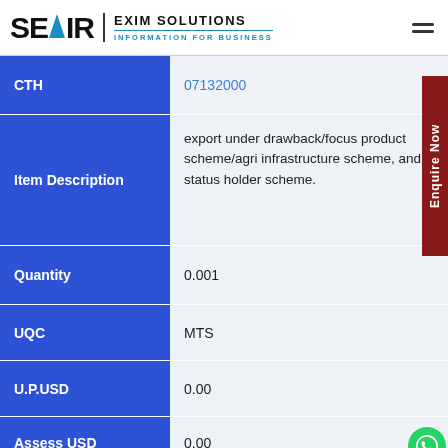SEAIR EXIM SOLUTIONS — INFORMATION FOR BUSINESS
| Field | Value |
| --- | --- |
| CTH | 07132000 |
| Item Description | export under drawback/focus product scheme/agri infrastructure scheme, and status holder scheme. |
| Quantity | 0.001 |
| UQC | MTS |
| U.P.USD | 0.00 |
| Assess USD | 0.00 |